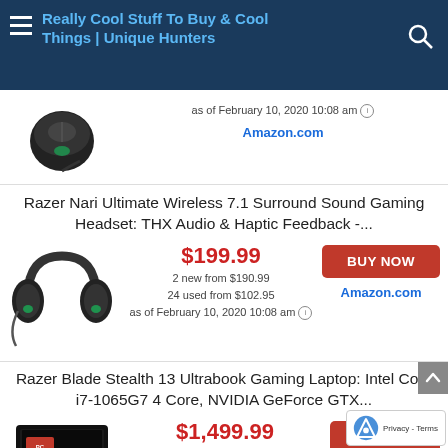Really Cool Stuff To Buy & Cool Things | Unique Hunters
as of February 10, 2020 10:08 am
Amazon.com
Razer Nari Ultimate Wireless 7.1 Surround Sound Gaming Headset: THX Audio & Haptic Feedback -...
$199.99
2 new from $190.99
24 used from $102.95
as of February 10, 2020 10:08 am
BUY NOW
Amazon.com
Razer Blade Stealth 13 Ultrabook Gaming Laptop: Intel Core i7-1065G7 4 Core, NVIDIA GeForce GTX...
$1,499.99
$1,799.99
2 new from $1,499.99
2 used from $1,379.99
as of February 10, 2020 10:08
BUY NOW
Amazon.